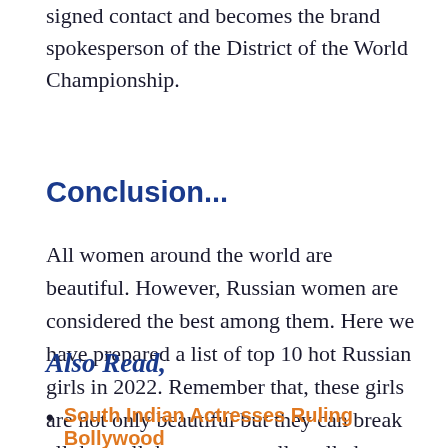signed contact and becomes the brand spokesperson of the District of the World Championship.
Conclusion...
All women around the world are beautiful. However, Russian women are considered the best among them. Here we have prepared a list of top 10 hot Russian girls in 2022. Remember that, these girls are not only beautiful but they can break all the wall that we generally called weaker sex.
Also Read,
South Indian Actresses Ruling Bollywood